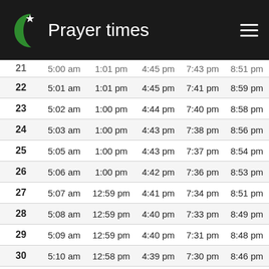Prayer times
| Day | Fajr | Dhuhr | Asr | Maghrib | Isha |
| --- | --- | --- | --- | --- | --- |
| 21 | 5:00 am | 1:01 pm | 4:45 pm | 7:43 pm | 8:51 pm |
| 22 | 5:01 am | 1:01 pm | 4:45 pm | 7:41 pm | 8:59 pm |
| 23 | 5:02 am | 1:00 pm | 4:44 pm | 7:40 pm | 8:58 pm |
| 24 | 5:03 am | 1:00 pm | 4:43 pm | 7:38 pm | 8:56 pm |
| 25 | 5:05 am | 1:00 pm | 4:43 pm | 7:37 pm | 8:54 pm |
| 26 | 5:06 am | 1:00 pm | 4:42 pm | 7:36 pm | 8:53 pm |
| 27 | 5:07 am | 12:59 pm | 4:41 pm | 7:34 pm | 8:51 pm |
| 28 | 5:08 am | 12:59 pm | 4:40 pm | 7:33 pm | 8:49 pm |
| 29 | 5:09 am | 12:59 pm | 4:40 pm | 7:31 pm | 8:48 pm |
| 30 | 5:10 am | 12:58 pm | 4:39 pm | 7:30 pm | 8:46 pm |
| 31 | 5:11 am | 12:58 pm | 4:38 pm | 7:28 pm | 8:44 pm |